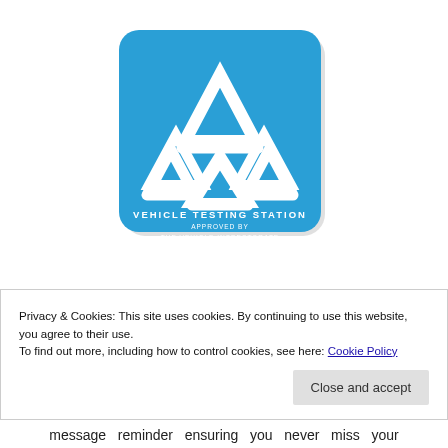[Figure (logo): MOT Vehicle Testing Station logo — blue rounded-square sign with three white triangles arranged in a trefoil pattern; text reads VEHICLE TESTING STATION / APPROVED BY / THE VEHICLE INSPECTORATE]
Privacy & Cookies: This site uses cookies. By continuing to use this website, you agree to their use.
To find out more, including how to control cookies, see here: Cookie Policy
Close and accept
message reminder ensuring you never miss your